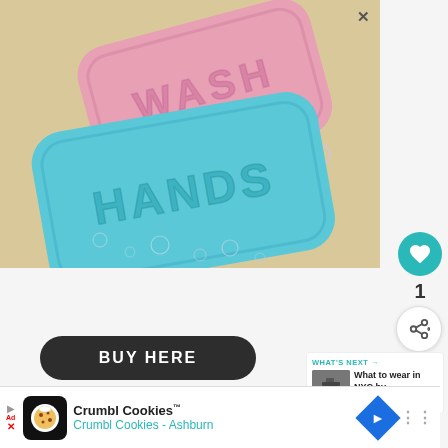[Figure (photo): Two soap bars on a beige background with soap bubbles. A pink soap bar on top with embossed text 'WASH', and a teal/cyan soap bar in front with embossed text 'HANDS'.]
1
WHAT'S NEXT → What to wear in NYC by...
BUY HERE
Crumbl Cookies™ Crumbl Cookies - Ashburn